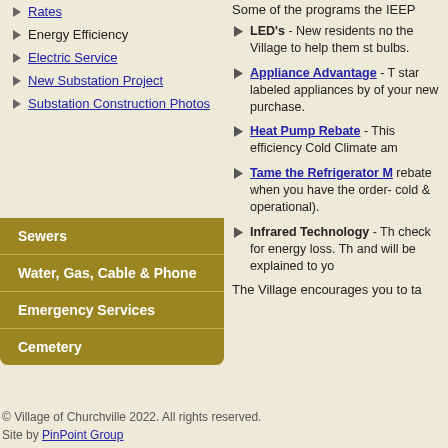Rates
Energy Efficiency
Electric Service
New Substation Project
Substation Construction Photos
Sewers
Water, Gas, Cable & Phone
Emergency Services
Cemetery
Some of the programs the IEEP
LED's - New residents no the Village to help them st bulbs.
Appliance Advantage - T star labeled appliances by of your new purchase.
Heat Pump Rebate - This efficiency Cold Climate am
Tame the Refrigerator M rebate when you have the order- cold & operational).
Infrared Technology - Th check for energy loss. Th and will be explained to yo
The Village encourages you to ta
© Village of Churchville 2022. All rights reserved.
Site by PinPoint Group